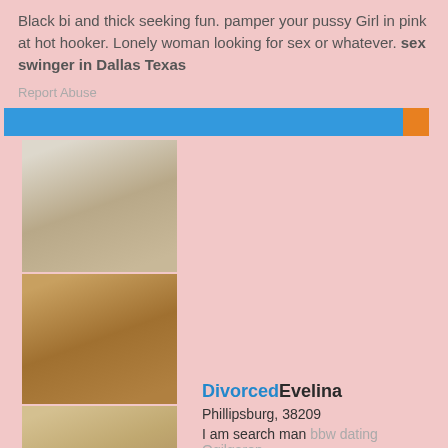Black bi and thick seeking fun. pamper your pussy Girl in pink at hot hooker. Lonely woman looking for sex or whatever. sex swinger in Dallas Texas
Report Abuse
[Figure (photo): Three stacked photos of women]
DivorcedEvelina
Phillipsburg, 38209
I am search man bbw dating Ogilgaron